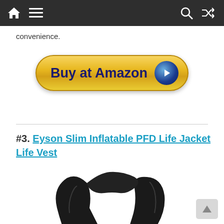Navigation bar with home, menu, search, and shuffle icons
convenience.
[Figure (illustration): Yellow 'Buy at Amazon' button with a dark blue circular play icon on the right]
#3. Eyson Slim Inflatable PFD Life Jacket Life Vest
[Figure (photo): Black inflatable PFD life jacket/life vest product photo on white background]